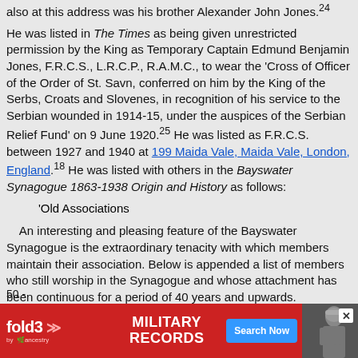also at this address was his brother Alexander John Jones.24
He was listed in The Times as being given unrestricted permission by the King as Temporary Captain Edmund Benjamin Jones, F.R.C.S., L.R.C.P., R.A.M.C., to wear the 'Cross of Officer of the Order of St. Savn, conferred on him by the King of the Serbs, Croats and Slovenes, in recognition of his service to the Serbian wounded in 1914-15, under the auspices of the Serbian Relief Fund' on 9 June 1920.25 He was listed as F.R.C.S. between 1927 and 1940 at 199 Maida Vale, Maida Vale, London, England.18 He was listed with others in the Bayswater Synagogue 1863-1938 Origin and History as follows:
'Old Associations
An interesting and pleasing feature of the Bayswater Synagogue is the extraordinary tenacity with which members maintain their association. Below is appended a list of members who still worship in the Synagogue and whose attachment has been continuous for a period of 40 years and upwards.
50 -
[Figure (infographic): Advertisement banner for fold3 Military Records by Ancestry with red background, logo, 'MILITARY RECORDS' text, Search Now button, and a soldier photo.]